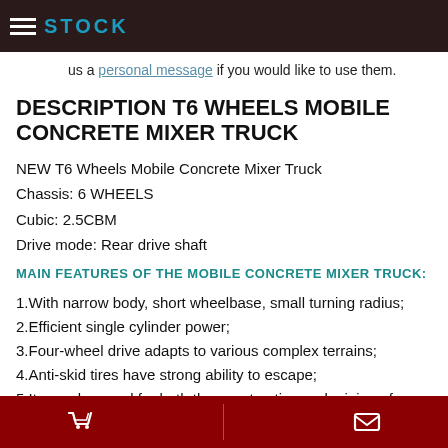STOCK
us a personal message if you would like to use them.
DESCRIPTION T6 WHEELS MOBILE CONCRETE MIXER TRUCK
NEW T6 Wheels Mobile Concrete Mixer Truck
Chassis: 6 WHEELS
Cubic: 2.5CBM
Drive mode: Rear drive shaft
MAIN FEATURES OF THE MOBILE CONCRETE MIXER TRUCK:
1.With narrow body, short wheelbase, small turning radius;
2.Efficient single cylinder power;
3.Four-wheel drive adapts to various complex terrains;
4.Anti-skid tires have strong ability to escape;
5.(partially visible)